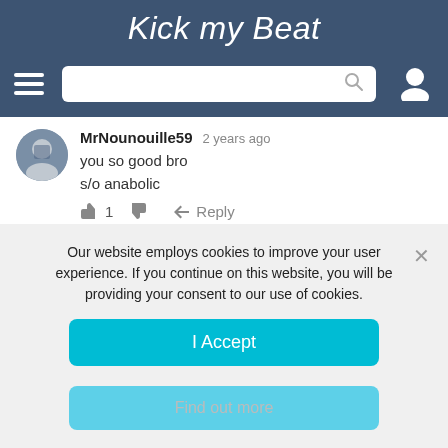Kick my Beat
MrNounouille59  2 years ago
you so good bro
s/o anabolic
👍 1  👎  ↩ Reply
Savage Axe  2 years ago
Our website employs cookies to improve your user experience. If you continue on this website, you will be providing your consent to our use of cookies.
I Accept
Find out more